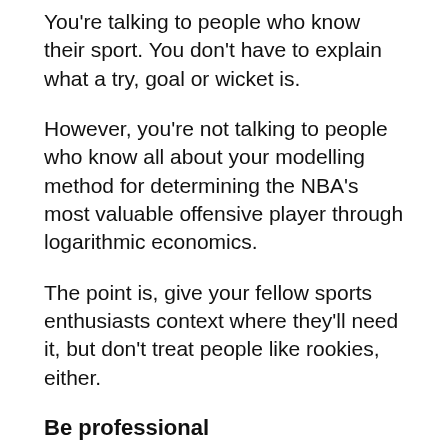You're talking to people who know their sport. You don't have to explain what a try, goal or wicket is.
However, you're not talking to people who know all about your modelling method for determining the NBA's most valuable offensive player through logarithmic economics.
The point is, give your fellow sports enthusiasts context where they'll need it, but don't treat people like rookies, either.
Be professional
The Roar is a place for sports opinion and